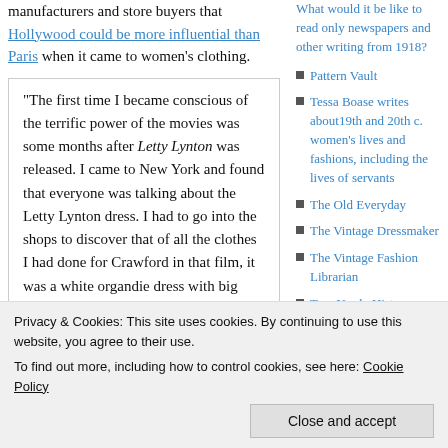manufacturers and store buyers that Hollywood could be more influential than Paris when it came to women's clothing.
“The first time I became conscious of the terrific power of the movies was some months after Letty Lynton was released. I came to New York and found that everyone was talking about the Letty Lynton dress. I had to go into the shops to discover that of all the clothes I had done for Crawford in that film, it was a white organdie dress with big puffed sleeves that made the success. In the studio we thought the dress was
What would it be like to read only newspapers and other writing from 1918?
Pattern Vault
Tessa Boase writes about19th and 20th c. women's lives and fashions, including the lives of servants
The Old Everyday
The Vintage Dressmaker
The Vintage Fashion Librarian
Two Nerdy History
Privacy & Cookies: This site uses cookies. By continuing to use this website, you agree to their use.
To find out more, including how to control cookies, see here: Cookie Policy